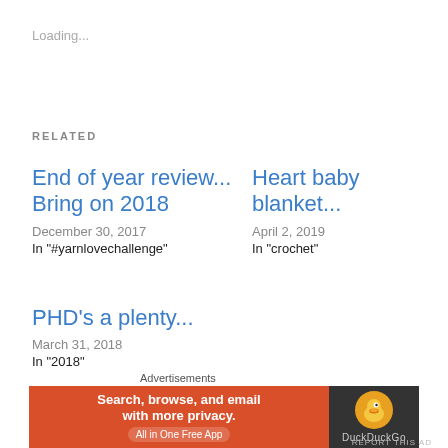Loading...
RELATED
End of year review... Bring on 2018
December 30, 2017
In "#yarnlovechallenge"
Heart baby blanket...
April 2, 2019
In "crochet"
PHD's a plenty...
March 31, 2018
In "2018"
Advertisements
[Figure (screenshot): DuckDuckGo advertisement banner: orange left panel reading 'Search, browse, and email with more privacy. All in One Free App' and dark right panel with DuckDuckGo duck logo and text 'DuckDuckGo']